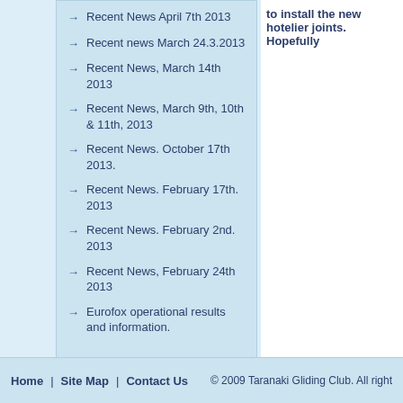Recent News April 7th 2013
Recent news March 24.3.2013
Recent News, March 14th 2013
Recent News, March 9th, 10th & 11th, 2013
Recent News. October 17th 2013.
Recent News. February 17th. 2013
Recent News. February 2nd. 2013
Recent News, February 24th 2013
Eurofox operational results and information.
to install the new hotelier joints. Hopefully
Home | Site Map | Contact Us | © 2009 Taranaki Gliding Club. All right